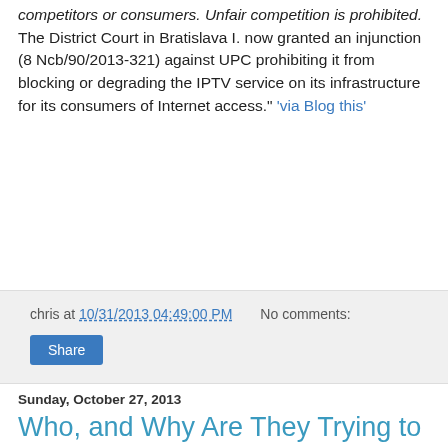competitors or consumers. Unfair competition is prohibited. The District Court in Bratislava I. now granted an injunction (8 Ncb/90/2013-321) against UPC prohibiting it from blocking or degrading the IPTV service on its infrastructure for its consumers of Internet access." 'via Blog this'
chris at 10/31/2013 04:49:00 PM   No comments:
Share
Sunday, October 27, 2013
Who, and Why Are They Trying to Control the Korean Internet?
South Korean Human Rights Monitor | Net Neutrality: Who, and Why Are They Trying to Control the Internet? - South Korean Human Rights Monitor: "carriers blocking the mVoIp service have a more serious implication. If the carriers have power to block the mVoIP service arbitrarily, it is also likely